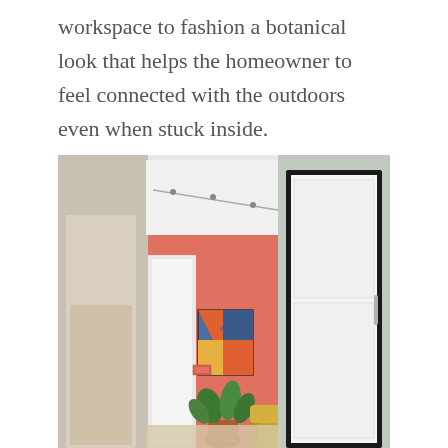workspace to fashion a botanical look that helps the homeowner to feel connected with the outdoors even when stuck inside.
[Figure (photo): Interior photo showing a hallway with sage green walls, a salmon/coral accent wall in the background with colorful abstract artwork hung on it, a tall white wardrobe with black frame on the right, green houseplants, and a yellow mustard armchair partially visible.]